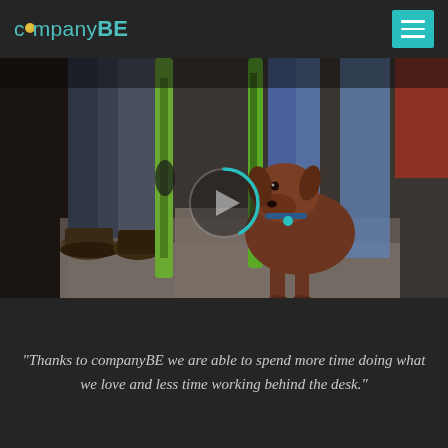companyBE [logo with menu button]
[Figure (photo): Photo of a chocolate Labrador dog sitting on the floor among people's legs, with ski equipment visible in the background. A circular play button overlay is centered on the image, with a teal/cyan arc indicating a loading or play state.]
"Thanks to companyBE we are able to spend more time doing what we love and less time working behind the desk."